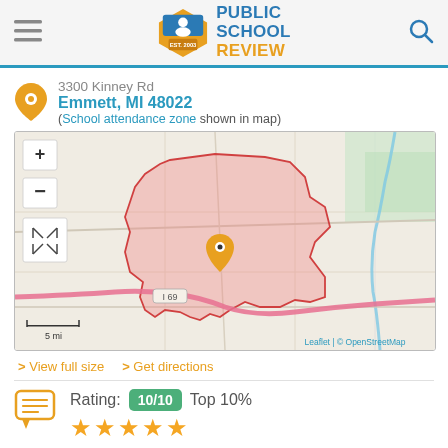Public School Review
3300 Kinney Rd
Emmett, MI 48022
(School attendance zone shown in map)
[Figure (map): Map showing school attendance zone boundary in pink/red outline near Emmett MI, with location pin marker and I-69 highway visible. Map controls show + and - zoom buttons and full-screen icon. Scale shows 5 mi. Attribution: Leaflet | © OpenStreetMap]
> View full size  > Get directions
Rating: 10/10  Top 10%